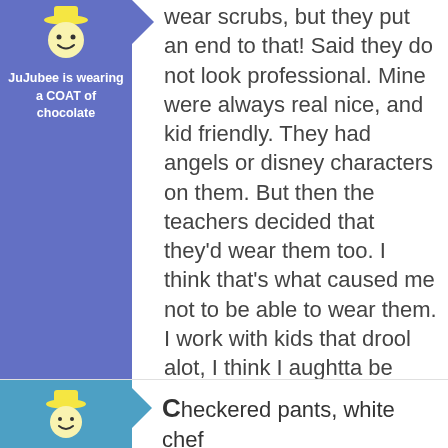[Figure (illustration): Avatar icon of JuJubee character (smiley face with yellow hat) on blue/purple background with username label]
JuJubee is wearing a COAT of chocolate
wear scrubs, but they put an end to that! Said they do not look professional. Mine were always real nice, and kid friendly. They had angels or disney characters on them. But then the teachers decided that they'd wear them too. I think that's what caused me not to be able to wear them. I work with kids that drool alot, I think I aughtta be able to wear them! Phooey!
No comments
[Figure (illustration): Second avatar icon of character on teal/blue background at bottom of page]
Checkered pants, white chef